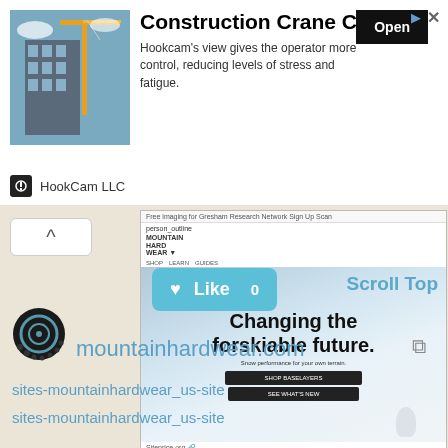[Figure (screenshot): Advertisement banner for HookCam LLC featuring Construction Crane Camera with image of crane, Open button, and HookCam LLC branding]
[Figure (screenshot): Screenshot of mountainhardwear.com website showing 'Changing the forskiable future.' hero text with ski/snow imagery, navigation and buttons]
[Figure (other): Like button showing heart icon and Like 0, and Scroll Top link in teal]
[Figure (logo): Mountain Hardwear logo icon]
mountainhardwear.com
sites-mountainhardwear_us-site
sites-mountainhardwear_us-site